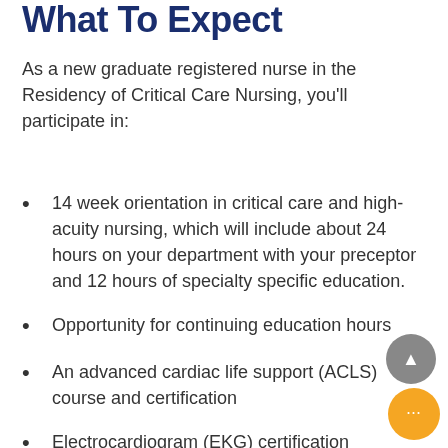What To Expect
As a new graduate registered nurse in the Residency of Critical Care Nursing, you'll participate in:
14 week orientation in critical care and high-acuity nursing, which will include about 24 hours on your department with your preceptor and 12 hours of specialty specific education.
Opportunity for continuing education hours
An advanced cardiac life support (ACLS) course and certification
Electrocardiogram (EKG) certification
High acuity, medical and surgical simulation scenarios in our patient simulation lab
Opportunity to shadow experienced nurse…